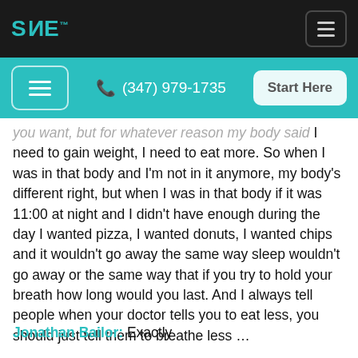SANE (logo) | menu button
(347) 979-1735 | Start Here
you want, but for whatever reason my body said I need to gain weight, I need to eat more. So when I was in that body and I'm not in it anymore, my body's different right, but when I was in that body if it was 11:00 at night and I didn't have enough during the day I wanted pizza, I wanted donuts, I wanted chips and it wouldn't go away the same way sleep wouldn't go away or the same way that if you try to hold your breath how long would you last. And I always tell people when your doctor tells you to eat less, you should just tell them to breathe less …
Jonathan Bailor: Exactly